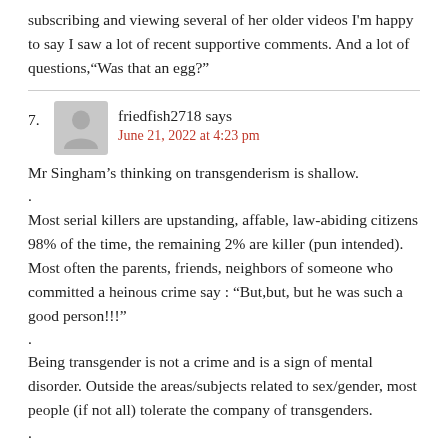subscribing and viewing several of her older videos I'm happy to say I saw a lot of recent supportive comments. And a lot of questions,“Was that an egg?”
friedfish2718 says
June 21, 2022 at 4:23 pm
Mr Singham’s thinking on transgenderism is shallow.
.
Most serial killers are upstanding, affable, law-abiding citizens 98% of the time, the remaining 2% are killer (pun intended). Most often the parents, friends, neighbors of someone who committed a heinous crime say : “But,but, but he was such a good person!!!”
.
Being transgender is not a crime and is a sign of mental disorder. Outside the areas/subjects related to sex/gender, most people (if not all) tolerate the company of transgenders.
.